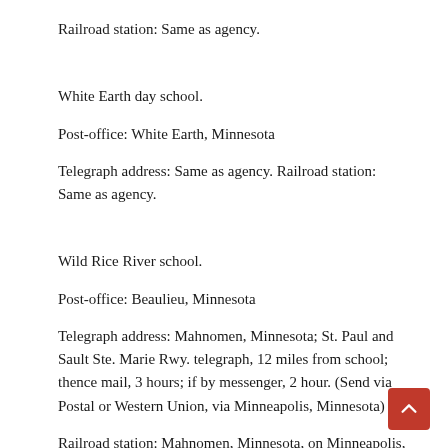Railroad station: Same as agency.
White Earth day school.
Post-office: White Earth, Minnesota
Telegraph address: Same as agency. Railroad station: Same as agency.
Wild Rice River school.
Post-office: Beaulieu, Minnesota
Telegraph address: Mahnomen, Minnesota; St. Paul and Sault Ste. Marie Rwy. telegraph, 12 miles from school; thence mail, 3 hours; if by messenger, 2 hour. (Send via Postal or Western Union, via Minneapolis, Minnesota)
Railroad station: Mahnomen, Minnesota, on Minneapolis, St.